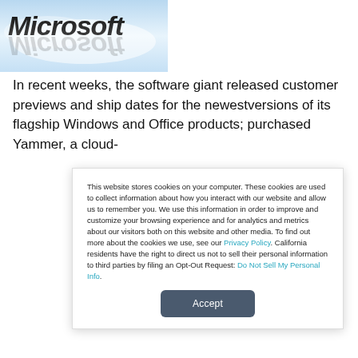[Figure (logo): Microsoft logo with reflection on blue/white gradient background]
In recent weeks, the software giant released customer previews and ship dates for the newestversions of its flagship Windows and Office products; purchased Yammer, a cloud-
This website stores cookies on your computer. These cookies are used to collect information about how you interact with our website and allow us to remember you. We use this information in order to improve and customize your browsing experience and for analytics and metrics about our visitors both on this website and other media. To find out more about the cookies we use, see our Privacy Policy. California residents have the right to direct us not to sell their personal information to third parties by filing an Opt-Out Request: Do Not Sell My Personal Info.
Accept